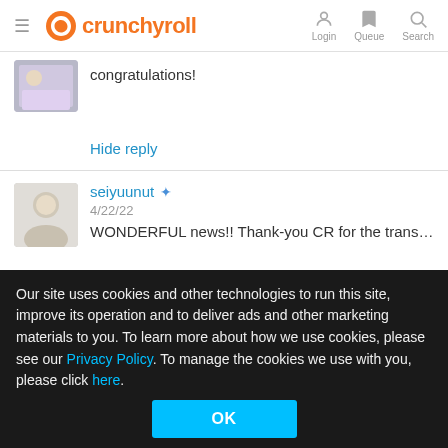[Figure (logo): Crunchyroll logo with orange icon and wordmark, plus hamburger menu, Login, Queue, Search nav items]
congratulations!
Hide reply
seiyuunut ✦ 4/22/22 WONDERFUL news!! Thank-you CR for the translation! Two of m…
Reply
Popular Shows
Dragon Ball Super
Platforms and Devices
Chromecast
Related Article
Maaya Sakamo…
Our site uses cookies and other technologies to run this site, improve its operation and to deliver ads and other marketing materials to you. To learn more about how we use cookies, please see our Privacy Policy. To manage the cookies we use with you, please click here.